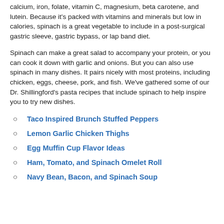calcium, iron, folate, vitamin C, magnesium, beta carotene, and lutein. Because it's packed with vitamins and minerals but low in calories, spinach is a great vegetable to include in a post-surgical gastric sleeve, gastric bypass, or lap band diet.
Spinach can make a great salad to accompany your protein, or you can cook it down with garlic and onions. But you can also use spinach in many dishes. It pairs nicely with most proteins, including chicken, eggs, cheese, pork, and fish. We've gathered some of our Dr. Shillingford's pasta recipes that include spinach to help inspire you to try new dishes.
Taco Inspired Brunch Stuffed Peppers
Lemon Garlic Chicken Thighs
Egg Muffin Cup Flavor Ideas
Ham, Tomato, and Spinach Omelet Roll
Navy Bean, Bacon, and Spinach Soup